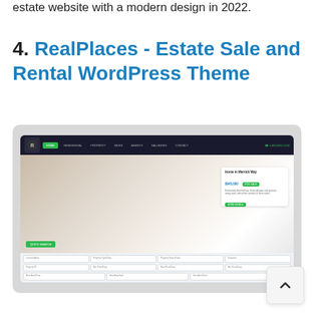estate website with a modern design in 2022.
4. RealPlaces - Estate Sale and Rental WordPress Theme
[Figure (screenshot): Screenshot of the RealPlaces WordPress theme showing a real estate website homepage with a dark navigation bar, hero image of a living room, a property listing card for 'Home in Merrick Way', a quick search button, and a search form at the bottom.]
[Figure (other): Back-to-top button in the bottom right corner with an upward-pointing chevron icon.]